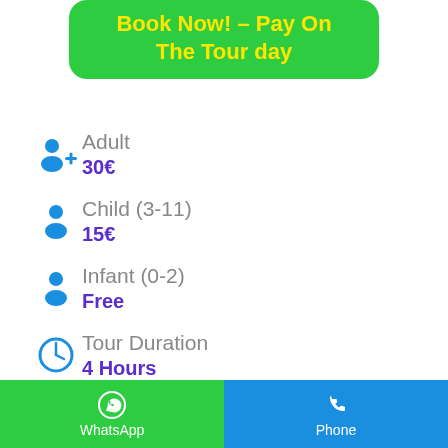[Figure (infographic): Green rounded button with yellow bold text: Book Now! - Pay On The Tour day]
Adult
30€
Child (3-11)
15€
Infant (0-2)
Free
Tour Duration
4 Hours
WhatsApp  Phone